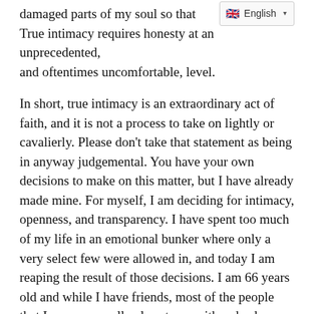damaged parts of my soul so that True intimacy requires honesty at an unprecedented, and oftentimes uncomfortable, level.
In short, true intimacy is an extraordinary act of faith, and it is not a process to take on lightly or cavalierly. Please don't take that statement as being in anyway judgemental. You have your own decisions to make on this matter, but I have already made mine. For myself, I am deciding for intimacy, openness, and transparency. I have spent too much of my life in an emotional bunker where only a very select few were allowed in, and today I am reaping the result of those decisions. I am 66 years old and while I have friends, most of the people that I was ever really close to are either dead, or soon will be. This distortion has resulted in me having a hard time hearing compliments because I always say to myself, "Oh yeah, you say that now. But you wouldn't if you really